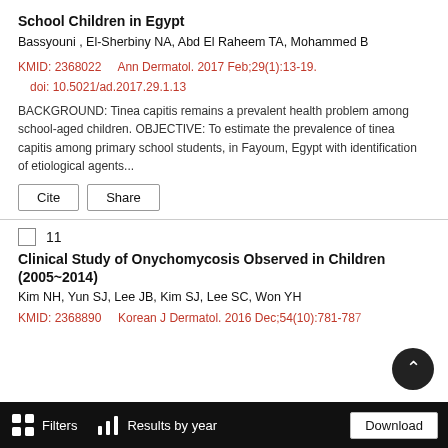School Children in Egypt
Bassyouni , El-Sherbiny NA, Abd El Raheem TA, Mohammed B
KMID: 2368022    Ann Dermatol.  2017 Feb;29(1):13-19.
  doi: 10.5021/ad.2017.29.1.13
BACKGROUND: Tinea capitis remains a prevalent health problem among school-aged children. OBJECTIVE: To estimate the prevalence of tinea capitis among primary school students, in Fayoum, Egypt with identification of etiological agents...
11
Clinical Study of Onychomycosis Observed in Children (2005~2014)
Kim NH, Yun SJ, Lee JB, Kim SJ, Lee SC, Won YH
KMID: 2368890    Korean J Dermatol.  2016 Dec;54(10):781-787
Filters    Results by year    Download